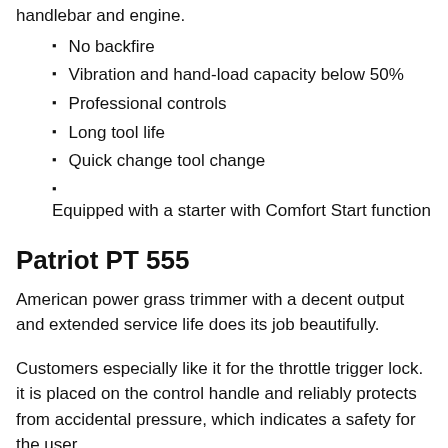handlebar and engine.
No backfire
Vibration and hand-load capacity below 50%
Professional controls
Long tool life
Quick change tool change
Equipped with a starter with Comfort Start function
Patriot PT 555
American power grass trimmer with a decent output and extended service life does its job beautifully.
Customers especially like it for the throttle trigger lock. it is placed on the control handle and reliably protects from accidental pressure, which indicates a safety for the user.